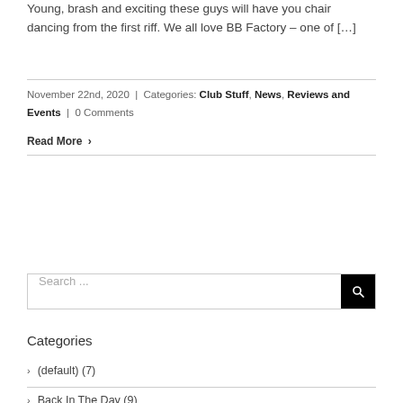Young, brash and exciting these guys will have you chair dancing from the first riff. We all love BB Factory – one of […]
November 22nd, 2020 | Categories: Club Stuff, News, Reviews and Events | 0 Comments
Read More
Search ...
Categories
(default) (7)
Back In The Day (9)